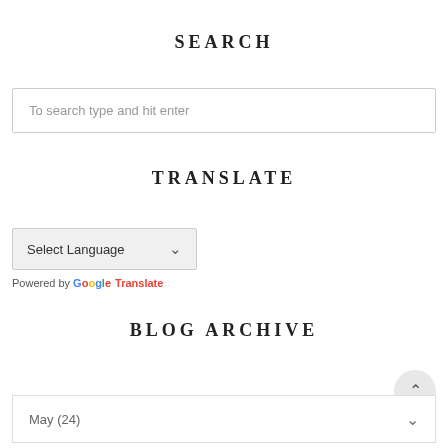SEARCH
To search type and hit enter
TRANSLATE
Select Language
Powered by Google Translate
BLOG ARCHIVE
May (24)